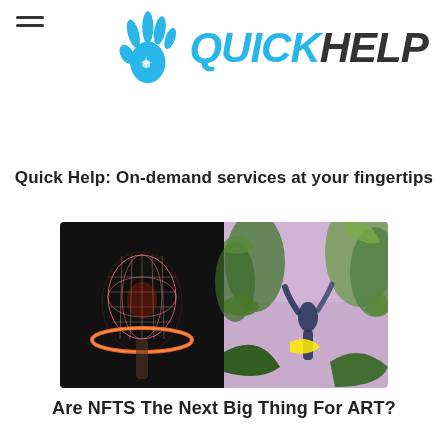≡ QUICKHELP
Quick Help: On-demand services at your fingertips
[Figure (illustration): Two digital artworks side by side: left shows a glowing pink/red wireframe human head with a neon ring around it on a dark background; right shows a surreal scene with tropical foliage, purple sky, and a dark creature-like figure with yellow highlights.]
Are NFTS The Next Big Thing For ART?